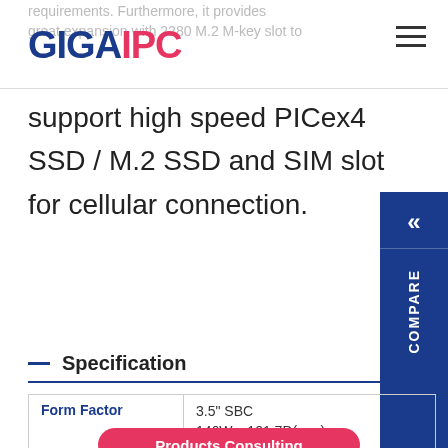GIGAIPC
requirements. Furthermore, it provides great expansion with 2280 M.2 M-key slot to support high speed PICex4 SSD / M.2 SSD and SIM slot for cellular connection.
Specification
|  |  |
| --- | --- |
| Form Factor | 3.5" SBC
146W x 101.7D(mm) |
| CPU | Intel® Cor...
14nm, 2 cores, 4 threads, up to 3.1 GHz
TDP 15W |